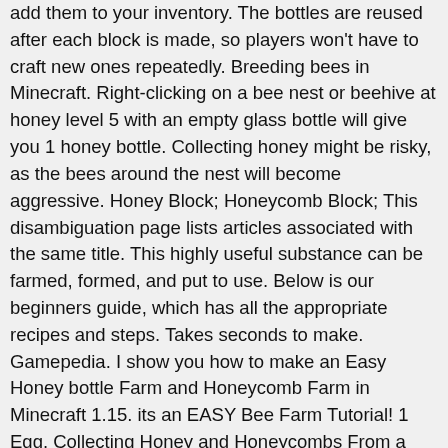add them to your inventory. The bottles are reused after each block is made, so players won't have to craft new ones repeatedly. Breeding bees in Minecraft. Right-clicking on a bee nest or beehive at honey level 5 with an empty glass bottle will give you 1 honey bottle. Collecting honey might be risky, as the bees around the nest will become aggressive. Honey Block; Honeycomb Block; This disambiguation page lists articles associated with the same title. This highly useful substance can be farmed, formed, and put to use. Below is our beginners guide, which has all the appropriate recipes and steps. Takes seconds to make. Gamepedia. I show you how to make an Easy Honey bottle Farm and Honeycomb Farm in Minecraft 1.15. its an EASY Bee Farm Tutorial! 1 Egg. Collecting Honey and Honeycombs From a Bee Nest in Minecraft Collecting Honey by Hand You can harvest honey from a bee's nest by walking up to … https://minecrafthowto.com/recipes/how-to-make-sugar-in-minecraft How to Get Honeycomb in Minecraft. You require glass bottles. While elevators aren't new to Minecraft, the ones you can